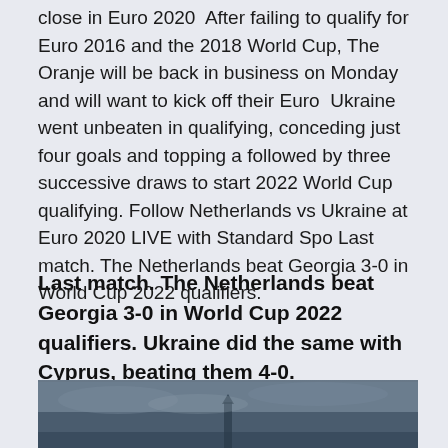close in Euro 2020  After failing to qualify for Euro 2016 and the 2018 World Cup, The Oranje will be back in business on Monday and will want to kick off their Euro  Ukraine went unbeaten in qualifying, conceding just four goals and topping a followed by three successive draws to start 2022 World Cup qualifying. Follow Netherlands vs Ukraine at Euro 2020 LIVE with Standard Spo Last match. The Netherlands beat Georgia 3-0 in World Cup 2022 qualifiers.
Last match. The Netherlands beat Georgia 3-0 in World Cup 2022 qualifiers. Ukraine did the same with Cyprus, beating them 4-0.
[Figure (photo): Dark cloudy sky with a faint silhouette of a structure visible at the bottom center of the image.]